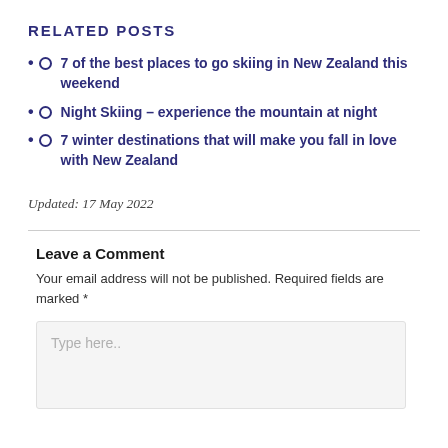RELATED POSTS
7 of the best places to go skiing in New Zealand this weekend
Night Skiing – experience the mountain at night
7 winter destinations that will make you fall in love with New Zealand
Updated: 17 May 2022
Leave a Comment
Your email address will not be published. Required fields are marked *
Type here..